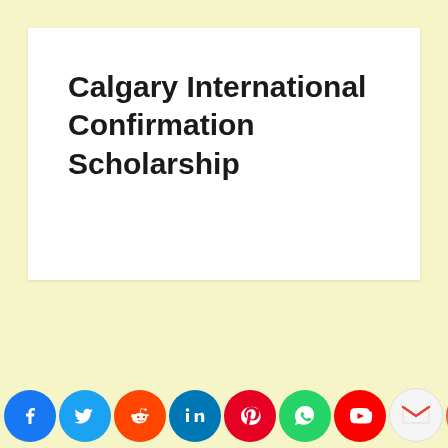Calgary International Confirmation Scholarship
[Figure (other): Social media sharing icons bar at bottom: Facebook, Twitter, Reddit, LinkedIn, Pinterest, WhatsApp, YouTube, Gmail, Instagram, Messenger, Yahoo]